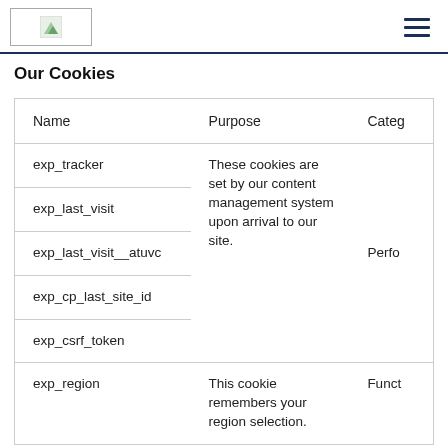[logo] [hamburger menu]
Our Cookies
| Name | Purpose | Categ |
| --- | --- | --- |
| exp_tracker | These cookies are set by our content management system upon arrival to our site. | Perfo |
| exp_last_visit |  |  |
| exp_last_visit__atuvc |  |  |
| exp_cp_last_site_id |  |  |
| exp_csrf_token |  |  |
| exp_region | This cookie remembers your region selection. | Funct |